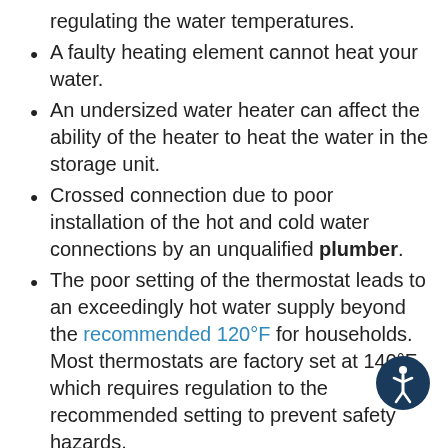malfunctioned thermostat that is not regulating the water temperatures.
A faulty heating element cannot heat your water.
An undersized water heater can affect the ability of the heater to heat the water in the storage unit.
Crossed connection due to poor installation of the hot and cold water connections by an unqualified plumber.
The poor setting of the thermostat leads to an exceedingly hot water supply beyond the recommended 120°F for households. Most thermostats are factory set at 140°F, which requires regulation to the recommended setting to prevent safety hazards.
How to prevent water temperature problems: